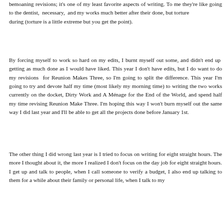bemoaning revisions; it's one of my least favorite aspects of writing. To me they're like going to the dentist, necessary, and my works much better after their done, but torture during (torture is a little extreme but you get the point).
By forcing myself to work so hard on my edits, I burnt myself out some, and didn't end up getting as much done as I would have liked. This year I don't have edits, but I do want to do my revisions for Reunion Makes Three, so I'm going to split the difference. This year I'm going to try and devote half my time (most likely my morning time) to writing the two works currently on the docket, Dirty Work and A Ménage for the End of the World, and spend half my time revising Reunion Make Three. I'm hoping this way I won't burn myself out the same way I did last year and I'll be able to get all the projects done before January 1st.
The other thing I did wrong last year is I tried to focus on writing for eight straight hours. The more I thought about it, the more I realized I don't focus on the day job for eight straight hours. I get up and talk to people, when I call someone to verify a budget, I also end up talking to them for a while about their family or personal life, when I talk to my